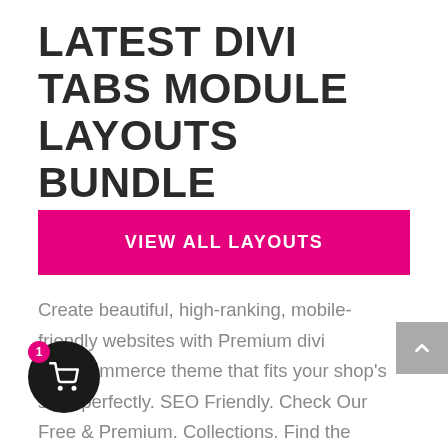LATEST DIVI TABS MODULE LAYOUTS BUNDLE
VIEW ALL LAYOUTS
Create beautiful, high-ranking, mobile-friendly websites with Premium divi WooCommerce theme that fits your shop's style perfectly. SEO Friendly. Check Our Free & Premium. Collections. Find the best (free & Premium) Divi ocommerce Theme to buy for the Divi ne in the Divi-childthemes.com Divi child Theme Directory.